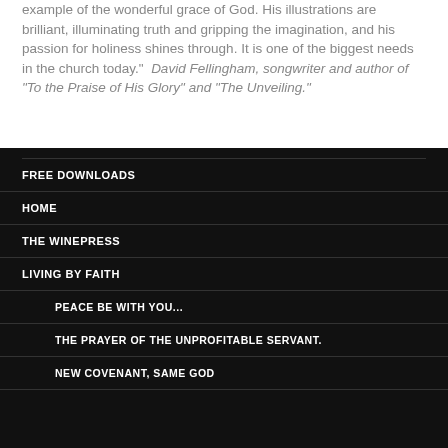example of the wonderful grace of God. His illustrations are brilliant, illuminating truth and gripping the imagination, and his passion for holiness shines through. It is one of the biggest needs in the church today." David Fellingham, songwriter and author of "To the Praise of His Glory" and "The Unveiling."
FREE DOWNLOADS
HOME
THE WINEPRESS
LIVING BY FAITH
PEACE BE WITH YOU...
THE PRAYER OF THE UNPROFITABLE SERVANT.
NEW COVENANT, SAME GOD